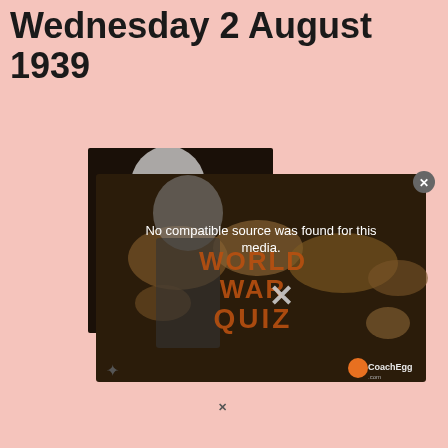Wednesday 2 August 1939
[Figure (screenshot): A video player overlay showing 'No compatible source was found for this media.' message over a World War Quiz branded background image with dark sepia world map and historical figure. A close (X) button is visible in the top right corner of the overlay. A small CoachEgg logo appears in the bottom right.]